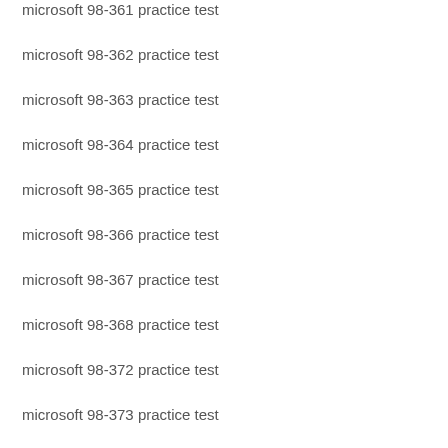microsoft 98-361 practice test
microsoft 98-362 practice test
microsoft 98-363 practice test
microsoft 98-364 practice test
microsoft 98-365 practice test
microsoft 98-366 practice test
microsoft 98-367 practice test
microsoft 98-368 practice test
microsoft 98-372 practice test
microsoft 98-373 practice test
microsoft 98-374 practice test
microsoft 98-375 practice test
microsoft 98-379 practice test
microsoft 98-381 practice test